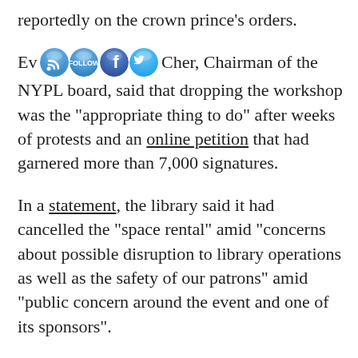reportedly on the crown prince’s orders.
Ev…Ch…er, Chairman of the NYPL board, said that dropping the workshop was the “appropriate thing to do” after weeks of protests and an online petition that had garnered more than 7,000 signatures.
In a statement, the library said it had cancelled the “space rental” amid “concerns about possible disruption to library operations as well as the safety of our patrons” amid “public concern around the event and one of its sponsors”.
It remains unclear whether the Misk